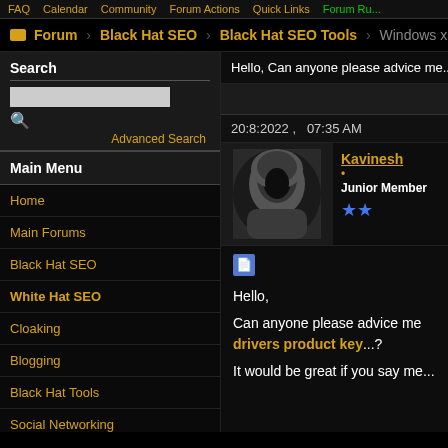FAQ  Calendar  Community  Forum Actions  Quick Links  Forum Ru...
Forum  Black Hat SEO  Black Hat SEO Tools  Windows xp p
Search
Advanced Search
Main Menu
Home
Main Forums
Black Hat SEO
White Hat SEO
Cloaking
Blogging
Black Hat Tools
Social Networking
Downloads
Hello, Can anyone please advice me
20:8:2022 ,   07:35 AM
Kavinesh • Junior Member ★★
Hello,

Can anyone please advice me drivers product key...?

It would be great if you say me